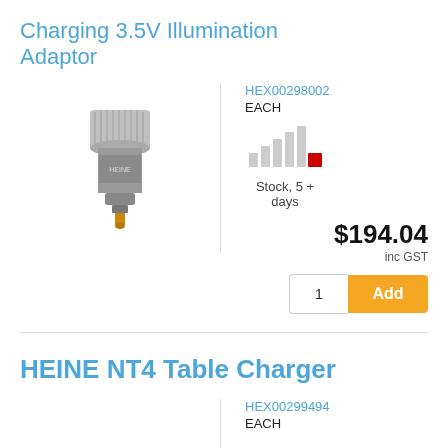Charging 3.5V Illumination Adaptor
[Figure (photo): Photo of a Charging 3.5V Illumination Adaptor — a metallic cylindrical adapter with knurled top and gold connector at bottom]
HEX00298002
EACH
[Figure (infographic): Stock availability bar chart icon with red square indicating low/delayed stock]
Stock, 5 + days
$194.04
inc GST
1
Add
HEINE NT4 Table Charger
HEX00299494
EACH